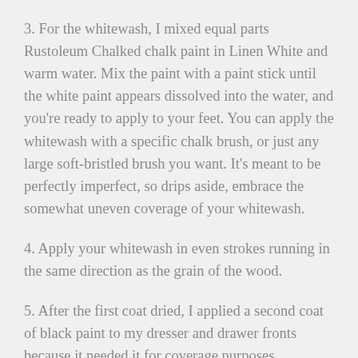3. For the whitewash, I mixed equal parts Rustoleum Chalked chalk paint in Linen White and warm water. Mix the paint with a paint stick until the white paint appears dissolved into the water, and you're ready to apply to your feet. You can apply the whitewash with a specific chalk brush, or just any large soft-bristled brush you want. It's meant to be perfectly imperfect, so drips aside, embrace the somewhat uneven coverage of your whitewash.
4. Apply your whitewash in even strokes running in the same direction as the grain of the wood.
5. After the first coat dried, I applied a second coat of black paint to my dresser and drawer fronts because it needed it for coverage purposes.